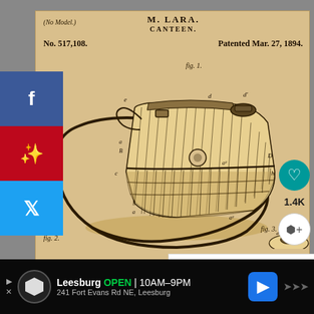[Figure (engineering-diagram): US Patent No. 517,108 by M. Lara for a Canteen, patented March 27, 1894. Shows Fig. 1: a perspective view of a canteen with shoulder strap, barrel-shaped body with vertical wood stave construction, metal bands, loop handle, and stopper. Reference letters a, a', b, B, c, d, d', D, e, h marked. Fig. 2 and Fig. 3 partially visible at the bottom.]
(No Model.)
M. LARA.
CANTEEN.
No. 517,108.
Patented Mar. 27, 1894.